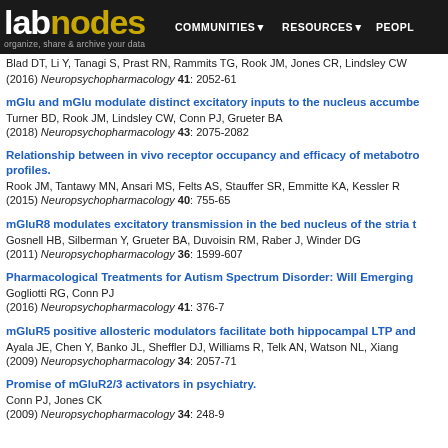labnodes | organize, share & archive your data | COMMUNITIES | RESOURCES | PEOPLE
Blad DT, Li Y, Tanagi S, Prast RN, Rammits TG, Rook JM, Jones CR, Lindsley CW (2016) Neuropsychopharmacology 41: 2052-61
mGlu and mGlu modulate distinct excitatory inputs to the nucleus accumbens
Turner BD, Rook JM, Lindsley CW, Conn PJ, Grueter BA
(2018) Neuropsychopharmacology 43: 2075-2082
Relationship between in vivo receptor occupancy and efficacy of metabotropic profiles.
Rook JM, Tantawy MN, Ansari MS, Felts AS, Stauffer SR, Emmitte KA, Kessler R
(2015) Neuropsychopharmacology 40: 755-65
mGluR8 modulates excitatory transmission in the bed nucleus of the stria t
Gosnell HB, Silberman Y, Grueter BA, Duvoisin RM, Raber J, Winder DG
(2011) Neuropsychopharmacology 36: 1599-607
Pharmacological Treatments for Autism Spectrum Disorder: Will Emerging
Gogliotti RG, Conn PJ
(2016) Neuropsychopharmacology 41: 376-7
mGluR5 positive allosteric modulators facilitate both hippocampal LTP and
Ayala JE, Chen Y, Banko JL, Sheffler DJ, Williams R, Telk AN, Watson NL, Xiang
(2009) Neuropsychopharmacology 34: 2057-71
Promise of mGluR2/3 activators in psychiatry.
Conn PJ, Jones CK
(2009) Neuropsychopharmacology 34: 248-9